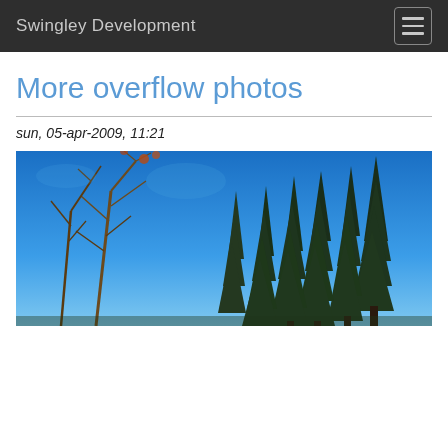Swingley Development
More overflow photos
sun, 05-apr-2009, 11:21
[Figure (photo): Panoramic photo of evergreen pine trees and bare winter trees against a bright blue sky, taken outdoors in a forested area.]